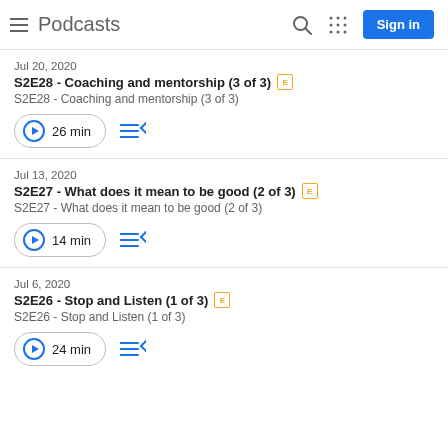Podcasts
Jul 20, 2020
S2E28 - Coaching and mentorship (3 of 3) [E]
S2E28 - Coaching and mentorship (3 of 3)
26 min
Jul 13, 2020
S2E27 - What does it mean to be good (2 of 3) [E]
S2E27 - What does it mean to be good (2 of 3)
14 min
Jul 6, 2020
S2E26 - Stop and Listen (1 of 3) [E]
S2E26 - Stop and Listen (1 of 3)
24 min